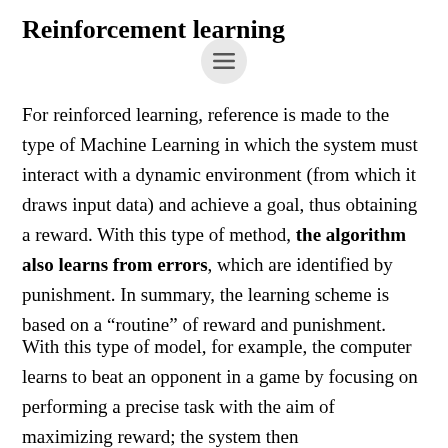Reinforcement learning
For reinforced learning, reference is made to the type of Machine Learning in which the system must interact with a dynamic environment (from which it draws input data) and achieve a goal, thus obtaining a reward. With this type of method, the algorithm also learns from errors, which are identified by punishment. In summary, the learning scheme is based on a “routine” of reward and punishment.
With this type of model, for example, the computer learns to beat an opponent in a game by focusing on performing a precise task with the aim of maximizing reward; the system then